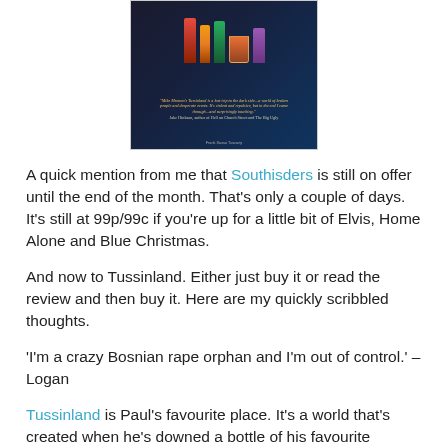[Figure (photo): Book cover image for Tussinland showing bottles and a glass on a dark background with a review quote in yellow italic text at the bottom]
A quick mention from me that Southisders is still on offer until the end of the month. That's only a couple of days. It's still at 99p/99c if you're up for a little bit of Elvis, Home Alone and Blue Christmas.
And now to Tussinland. Either just buy it or read the review and then buy it. Here are my quickly scribbled thoughts.
‘I’m a crazy Bosnian rape orphan and I’m out of control.’ – Logan
Tussinland is Paul’s favourite place. It’s a world that’s created when he’s downed a bottle of his favourite